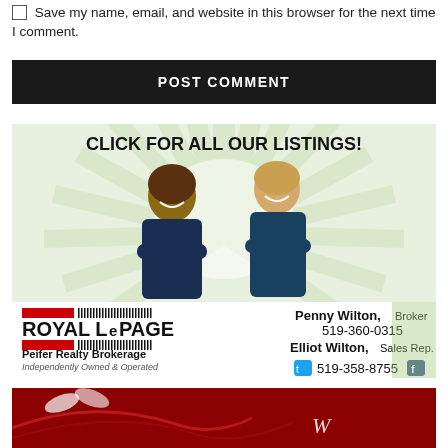☐ Save my name, email, and website in this browser for the next time I comment.
POST COMMENT
[Figure (photo): Royal LePage Peifer Realty Brokerage advertisement featuring two agents (Penny Wilton, Broker and Elliot Wilton, Sales Rep.) standing back-to-back with sunburst background and contact information 519-360-0315 and 519-358-8755. Text reads CLICK FOR ALL OUR LISTINGS!]
[Figure (photo): Partial view of a second advertisement with dark red/maroon background, partially visible at the bottom of the page.]